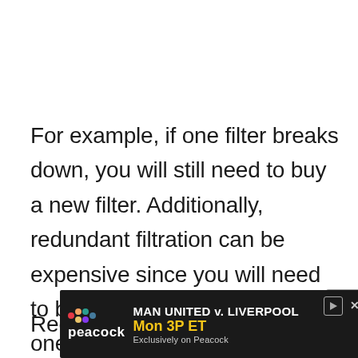For example, if one filter breaks down, you will still need to buy a new filter. Additionally, redundant filtration can be expensive since you will need to buy two filters instead of one.
Redundant filtration may not suit fiel...
[Figure (other): Advertisement banner for Peacock streaming service showing 'MAN UNITED v. LIVERPOOL Mon 3P ET Exclusively on Peacock']